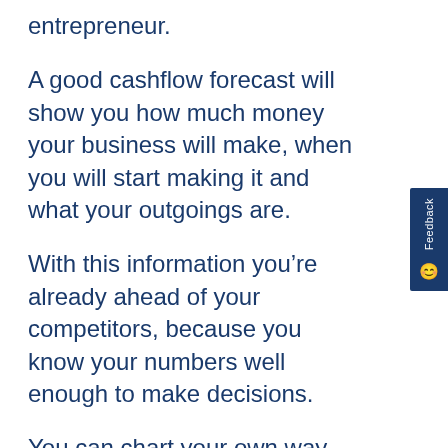entrepreneur.
A good cashflow forecast will show you how much money your business will make, when you will start making it and what your outgoings are.
With this information you’re already ahead of your competitors, because you know your numbers well enough to make decisions.
You can chart your own way forward and not react to outside forces.
I know that you’re probably scared by spreadsheets. And believe it or not,